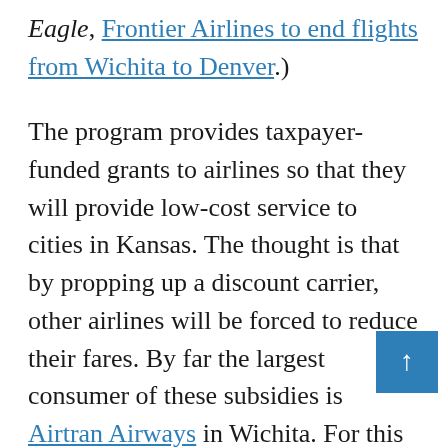Eagle, Frontier Airlines to end flights from Wichita to Denver.)
The program provides taxpayer-funded grants to airlines so that they will provide low-cost service to cities in Kansas. The thought is that by propping up a discount carrier, other airlines will be forced to reduce their fares. By far the largest consumer of these subsidies is Airtran Airways in Wichita. For this goal, the program has worked, probably. We have to say “probably” because we can never know what would have happened in the absence of the program. But it is quite likely that fares are at least somewhat lower than would they would